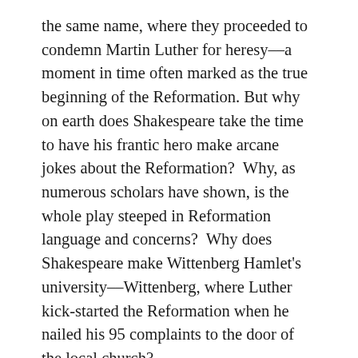the same name, where they proceeded to condemn Martin Luther for heresy––a moment in time often marked as the true beginning of the Reformation. But why on earth does Shakespeare take the time to have his frantic hero make arcane jokes about the Reformation?  Why, as numerous scholars have shown, is the whole play steeped in Reformation language and concerns?  Why does Shakespeare make Wittenberg Hamlet's university––Wittenberg, where Luther kick-started the Reformation when he nailed his 95 complaints to the door of the local church?
Although the Reformation began as a religious movement, it soon turned political, particularly in Elizabethan England where the establishment of a government based on Reformation policies was Burghley-Polonius's lifelong goal.  Does the author mean that as Burghley's body is being gobbled by maggots, his offices and wealth are being gobbled by